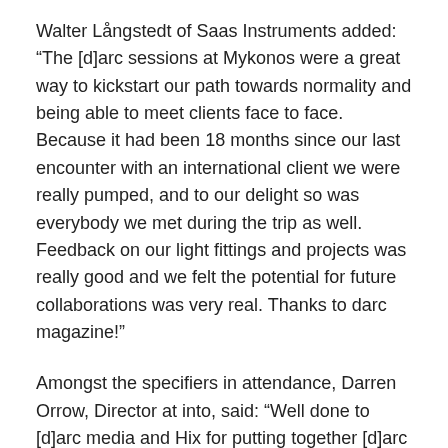Walter Långstedt of Saas Instruments added: “The [d]arc sessions at Mykonos were a great way to kickstart our path towards normality and being able to meet clients face to face. Because it had been 18 months since our last encounter with an international client we were really pumped, and to our delight so was everybody we met during the trip as well. Feedback on our light fittings and projects was really good and we felt the potential for future collaborations was very real. Thanks to darc magazine!”
Amongst the specifiers in attendance, Darren Orrow, Director at into, said: “Well done to [d]arc media and Hix for putting together [d]arc sessions – a seriously well organised event connecting industry leaders in lighting design. Some great new partnerships established over a series of informal meetings, lunches and dinners. The beautiful location and sunshine was a bonus.”
Laura Suico of Foster + Partners added: “It has been an incredible experience, the perfect format and location to share design ideas and new trends for the future. I think the format works really well and the informal context helped the networking a lot, everyone was feeling more relaxed compared to when we are in our offices.” Meanwhile,